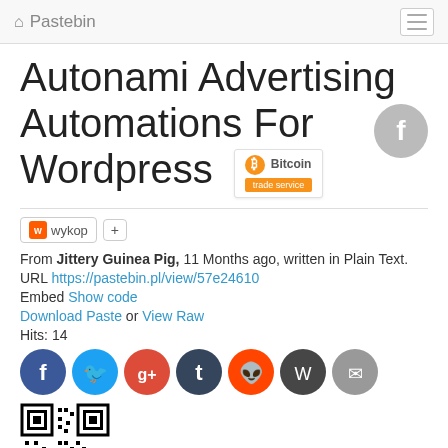Pastebin
Autonami Advertising Automations For Wordpress
From Jittery Guinea Pig, 11 Months ago, written in Plain Text.
URL https://pastebin.pl/view/57e24610
Embed Show code
Download Paste or View Raw
Hits: 14
[Figure (other): QR code for the paste link]
[Figure (other): Social sharing icons: Facebook, Twitter, Google+, Tumblr, Reddit, WordPress, Email]